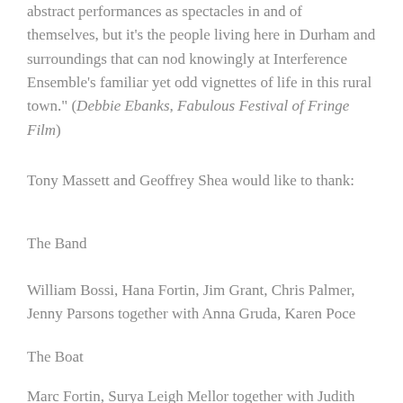abstract performances as spectacles in and of themselves, but it's the people living here in Durham and surroundings that can nod knowingly at Interference Ensemble's familiar yet odd vignettes of life in this rural town." (Debbie Ebanks, Fabulous Festival of Fringe Film)
Tony Massett and Geoffrey Shea would like to thank:
The Band
William Bossi, Hana Fortin, Jim Grant, Chris Palmer, Jenny Parsons together with Anna Gruda, Karen Poce
The Boat
Marc Fortin, Surya Leigh Mellor together with Judith